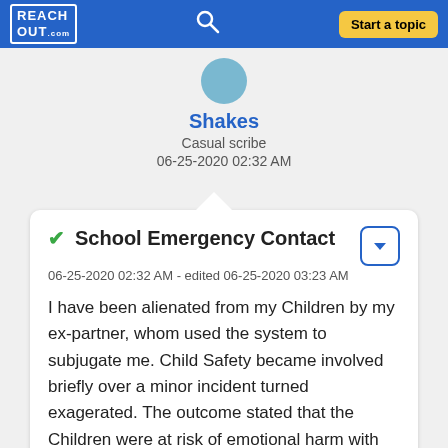ReachOut.com | Start a topic
[Figure (illustration): User avatar circle in teal/blue color]
Shakes
Casual scribe
06-25-2020 02:32 AM
School Emergency Contact
06-25-2020 02:32 AM - edited 06-25-2020 03:23 AM
I have been alienated from my Children by my ex-partner, whom used the system to subjugate me. Child Safety became involved briefly over a minor incident turned exagerated. The outcome stated that the Children were at risk of emotional harm with me, and not with the ...